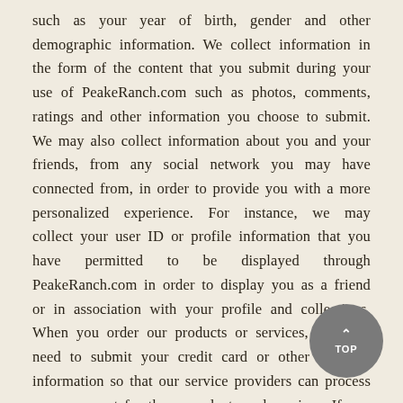such as your year of birth, gender and other demographic information. We collect information in the form of the content that you submit during your use of PeakeRanch.com such as photos, comments, ratings and other information you choose to submit. We may also collect information about you and your friends, from any social network you may have connected from, in order to provide you with a more personalized experience. For instance, we may collect your user ID or profile information that you have permitted to be displayed through PeakeRanch.com in order to display you as a friend or in association with your profile and collections. When you order our products or services, you will need to submit your credit card or other payment information so that our service providers can process your payment for those products and services. If you choose to sign up to receive information about products or services that may be of interest to you, we